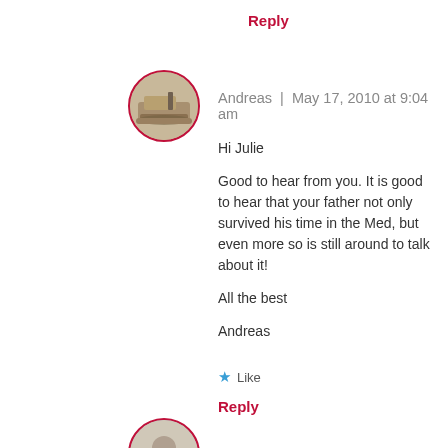Reply
[Figure (photo): Circular avatar with red border showing a tank or military vehicle in a desert setting]
Andreas  |  May 17, 2010 at 9:04 am
Hi Julie

Good to hear from you. It is good to hear that your father not only survived his time in the Med, but even more so is still around to talk about it!

All the best

Andreas
Like
Reply
[Figure (photo): Circular avatar with red border, partially visible at bottom of page]